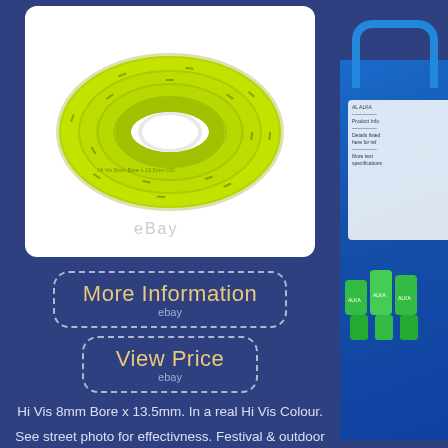[Figure (photo): Coiled yellow-green hi-vis PVC hose on white background with eBay watermark]
[Figure (other): More Information button with dashed border and eBay label]
[Figure (other): View Price button with dashed border and eBay label]
Hi Vis 8mm Bore x 13.5mm. In a real Hi Vis Colour.
See street photo for effectivness. Festival & outdoor public events. Polyester Reinforced Hi Vis PVC Hose.
[Figure (photo): Right side strip showing blue tote/container with green bottles]